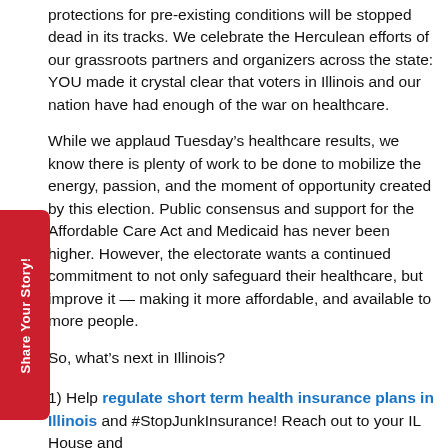protections for pre-existing conditions will be stopped dead in its tracks. We celebrate the Herculean efforts of our grassroots partners and organizers across the state: YOU made it crystal clear that voters in Illinois and our nation have had enough of the war on healthcare.
While we applaud Tuesday's healthcare results, we know there is plenty of work to be done to mobilize the energy, passion, and the moment of opportunity created by this election. Public consensus and support for the Affordable Care Act and Medicaid has never been higher. However, the electorate wants a continued commitment to not only safeguard their healthcare, but improve it — making it more affordable, and available to more people.
So, what's next in Illinois?
1) Help regulate short term health insurance plans in Illinois and #StopJunkInsurance! Reach out to your IL House and Senate members about co-sponsoring the Illinois Covers...